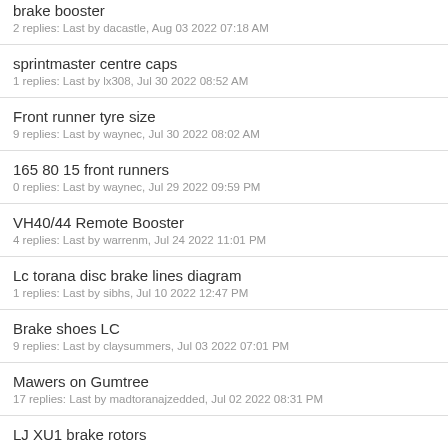brake booster
2 replies: Last by dacastle, Aug 03 2022 07:18 AM
sprintmaster centre caps
1 replies: Last by lx308, Jul 30 2022 08:52 AM
Front runner tyre size
9 replies: Last by waynec, Jul 30 2022 08:02 AM
165 80 15 front runners
0 replies: Last by waynec, Jul 29 2022 09:59 PM
VH40/44 Remote Booster
4 replies: Last by warrenm, Jul 24 2022 11:01 PM
Lc torana disc brake lines diagram
1 replies: Last by sibhs, Jul 10 2022 12:47 PM
Brake shoes LC
9 replies: Last by claysummers, Jul 03 2022 07:01 PM
Mawers on Gumtree
17 replies: Last by madtoranajzedded, Jul 02 2022 08:31 PM
LJ XU1 brake rotors
15 replies: Last by S_pack, Jun 27 2022 09:24 PM